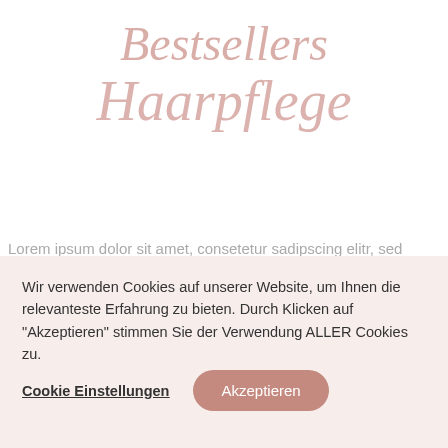Bestsellers
Haarpflege
Lorem ipsum dolor sit amet, consetetur sadipscing elitr, sed diam nonumy eirmod tempor invidunt ut labore et dolore magna aliquyam erat, sed diam voluptua.
Wir verwenden Cookies auf unserer Website, um Ihnen die relevanteste Erfahrung zu bieten. Durch Klicken auf "Akzeptieren" stimmen Sie der Verwendung ALLER Cookies zu.
Cookie Einstellungen
Akzeptieren